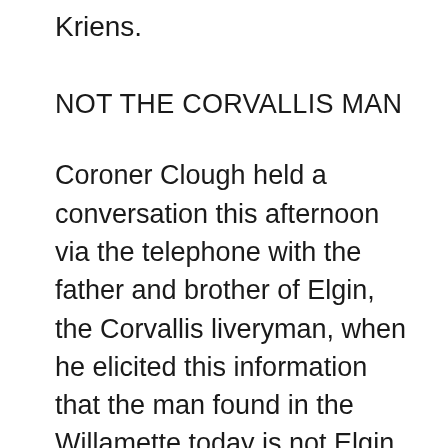Kriens.
NOT THE CORVALLIS MAN
Coroner Clough held a conversation this afternoon via the telephone with the father and brother of Elgin, the Corvallis liveryman, when he elicited this information that the man found in the Willamette today is not Elgin. When he disappeared the Corvallis man was attired in a whiteshirt while his pants were of a blue material with white stripes. He also wore “toothpick” shoes while those found with the remains are indeed quite broad. Instead of a white shirt the man found today wore a blue shirt dotted with white, while his